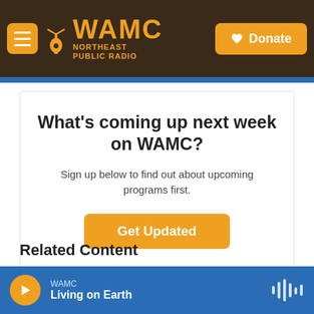[Figure (screenshot): WAMC Northeast Public Radio website header with hamburger menu, WAMC logo, and Donate button on dark brown background]
What's coming up next week on WAMC?
Sign up below to find out about upcoming programs first.
Get Updated
Related Content
WAMC
Living on Earth